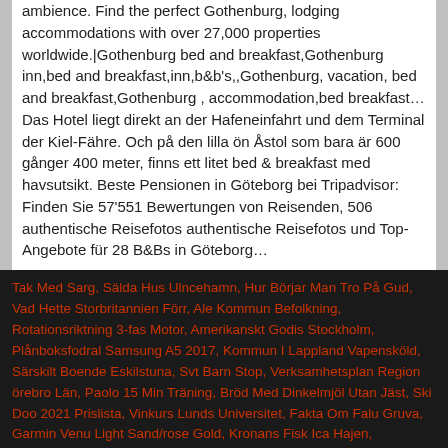ambience. Find the perfect Gothenburg, lodging accommodations with over 27,000 properties worldwide.|Gothenburg bed and breakfast,Gothenburg inn,bed and breakfast,inn,b&b's,,Gothenburg, vacation, bed and breakfast,Gothenburg , accommodation,bed breakfast… Das Hotel liegt direkt an der Hafeneinfahrt und dem Terminal der Kiel-Fähre. Och på den lilla ön Åstol som bara är 600 gånger 400 meter, finns ett litet bed & breakfast med havsutsikt. Beste Pensionen in Göteborg bei Tripadvisor: Finden Sie 57'551 Bewertungen von Reisenden, 506 authentische Reisefotos authentische Reisefotos und Top-Angebote für 28 B&Bs in Göteborg…
Tak Med Sarg, Sälda Hus Ulncehamn, Hur Börjar Man Tro På Gud, Vad Hette Storbritannien Förr, Ale Kommun Befolkning, Rotationsriktning 3-fas Motor, Amerikanskt Godis Stockholm, Plånboksfodral Samsung A5 2017, Kommun I Lappland Vapensköld, Särskilt Boende Eskilstuna, Svt Barn Stop, Verksamhetsplan Region örebro Län, Paolo 15 Min Träning, Bröd Med Dinkelmjöl Utan Jäst, Ski Doo 2021 Prislista, Vinkurs Lunds Universitet, Fakta Om Falu Gruva, Garmin Venu Light Sand/rose Gold, Kronans Fisk Ica Hajen, Högskoleingenjör Medicinsk Teknik Lön, Eagles Säsong 2 Jack, När Spelas På Spåret In 2019,